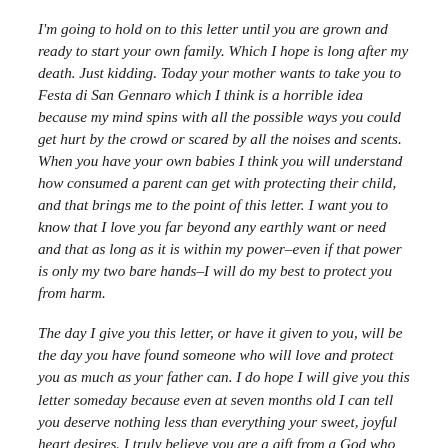I'm going to hold on to this letter until you are grown and ready to start your own family. Which I hope is long after my death. Just kidding. Today your mother wants to take you to Festa di San Gennaro which I think is a horrible idea because my mind spins with all the possible ways you could get hurt by the crowd or scared by all the noises and scents. When you have your own babies I think you will understand how consumed a parent can get with protecting their child, and that brings me to the point of this letter. I want you to know that I love you far beyond any earthly want or need and that as long as it is within my power–even if that power is only my two bare hands–I will do my best to protect you from harm.
The day I give you this letter, or have it given to you, will be the day you have found someone who will love and protect you as much as your father can. I do hope I will give you this letter someday because even at seven months old I can tell you deserve nothing less than everything your sweet, joyful heart desires. I truly believe you are a gift from a God who has no reason to give a man such as me anything. But I will cherish every moment with you until the day I give